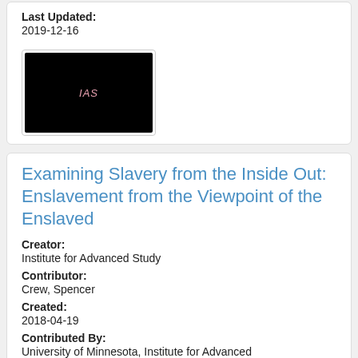Last Updated:
2019-12-16
[Figure (logo): Black thumbnail image with pink/red IAS text in center]
Examining Slavery from the Inside Out: Enslavement from the Viewpoint of the Enslaved
Creator:
Institute for Advanced Study
Contributor:
Crew, Spencer
Created:
2018-04-19
Contributed By:
University of Minnesota, Institute for Advanced